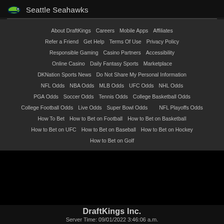Seattle Seahawks
About DraftKings | Careers | Mobile Apps | Affiliates
Refer a Friend | Get Help | Terms Of Use | Privacy Policy
Responsible Gaming | Casino Partners | Accessibility
Online Casino | Daily Fantasy Sports | Marketplace
DKNation Sports News | Do Not Share My Personal Information
NFL Odds | NBA Odds | MLB Odds | UFC Odds | NHL Odds
PGA Odds | Soccer Odds | Tennis Odds | College Basketball Odds
College Football Odds | Live Odds | Super Bowl Odds
NFL Playoffs Odds
How To Bet | How to Bet on Football | How to Bet on Basketball
How to Bet on UFC | How to Bet on Baseball | How to Bet on Hockey
How to Bet on Golf
DraftKings Inc.
Server Time: 09/01/2022 3:46:06 a.m.